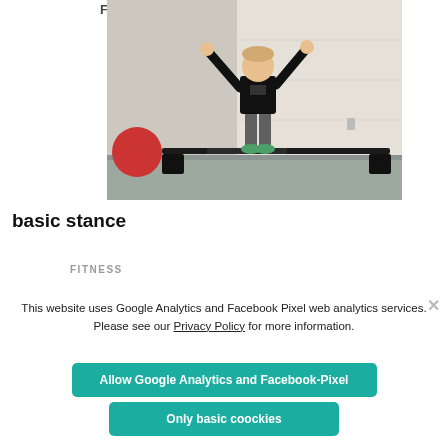Fi
[Figure (photo): Person standing on a balance training board/slide board in a gym, arms raised for balance, wearing black t-shirt and grey pants. Red exercise ball visible to the left. White wall behind.]
basic stance
FITNESS
This website uses Google Analytics and Facebook Pixel web analytics services. Please see our Privacy Policy for more information.
Allow Google Analytics and Facebook-Pixel
Only basic coockies